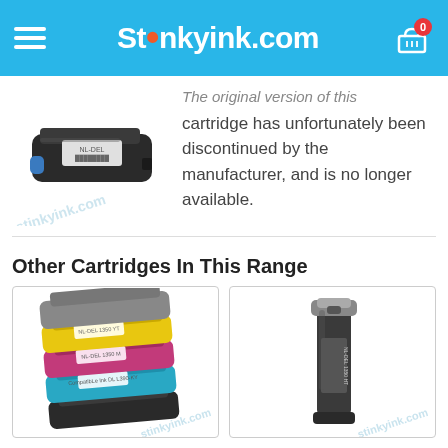StinkyInk.com
[Figure (photo): Black toner cartridge product photo with stinkyink.com watermark]
The original version of this cartridge has unfortunately been discontinued by the manufacturer, and is no longer available.
Other Cartridges In This Range
[Figure (photo): Stack of multicolor toner cartridges (yellow, magenta, cyan, black) with stinkyink.com watermark]
[Figure (photo): Single tall black toner cartridge standing upright with stinkyink.com watermark]